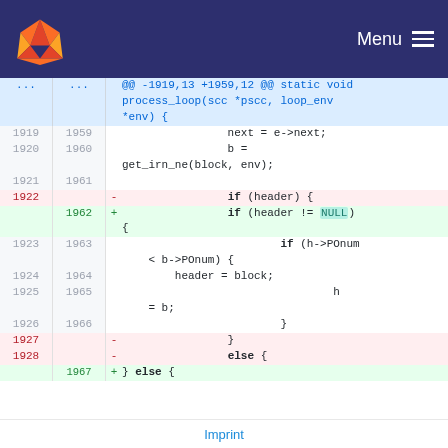GitLab — Menu
[Figure (screenshot): GitLab code diff view showing lines 1919-1928 (old) and 1959-1967 (new) of a C source file. The diff shows a change from 'if (header) {' to 'if (header != NULL) {'.]
Imprint